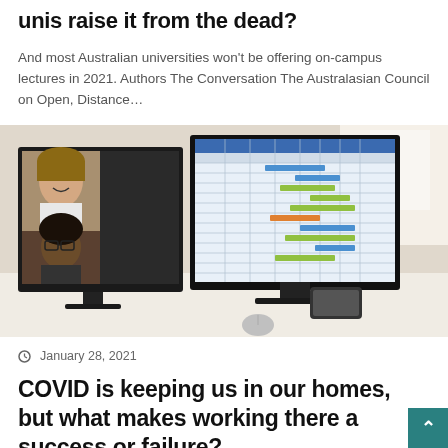unis raise it from the dead?
And most Australian universities won't be offering on-campus lectures in 2021. Authors The Conversation The Australasian Council on Open, Distance…
[Figure (photo): Photo of a home office desk with two computer monitors. The left monitor shows a video conference call with two participants (a woman and a man). The right monitor displays a spreadsheet or project management software with a Gantt chart. A smartphone and other office items are visible on the white desk. Background shows bright office/home environment.]
January 28, 2021
COVID is keeping us in our homes, but what makes working there a success or failure?